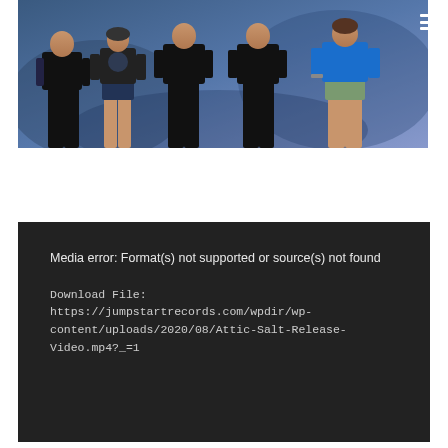[Figure (photo): A group of five people standing in front of a blue/purple smoky backdrop. They appear to be a music band. One person on the far left has visible tattoos and is wearing a black t-shirt. A woman in the middle is wearing a graphic t-shirt and dark shorts. Others are wearing black clothing and green shorts.]
Media error: Format(s) not supported or source(s) not found

Download File: https://jumpstartrecords.com/wpdir/wp-content/uploads/2020/08/Attic-Salt-Release-Video.mp4?_=1